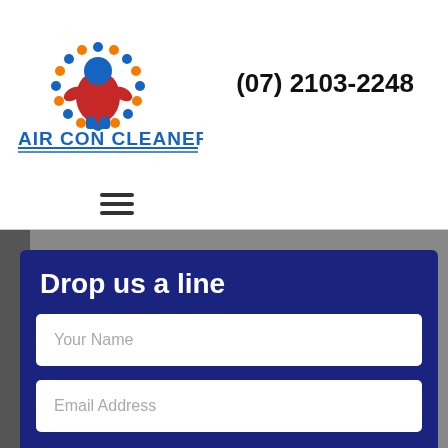[Figure (logo): Air Con Cleaner logo: circular emblem with blue and red HVAC technician silhouette, surrounded by blue and orange dots forming a circle. Below the emblem, text reads 'AIR CON CLEANER' in bold blue letters with underlines.]
(07) 2103-2248
[Figure (other): Hamburger menu icon with three horizontal lines]
Drop us a line
Your Name
Email Address